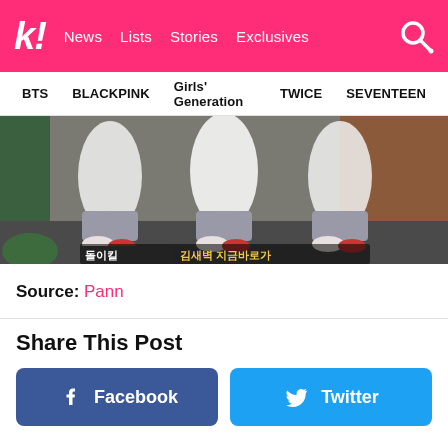k! News Lists Stories Exclusives
BTS  BLACKPINK  Girls' Generation  TWICE  SEVENTEEN
[Figure (photo): Still image from a video showing three people sitting on the ground wearing white shirts and grey pants/shoes, with Korean subtitle text overlay at the bottom]
Source: Pann
Share This Post
Facebook
Twitter